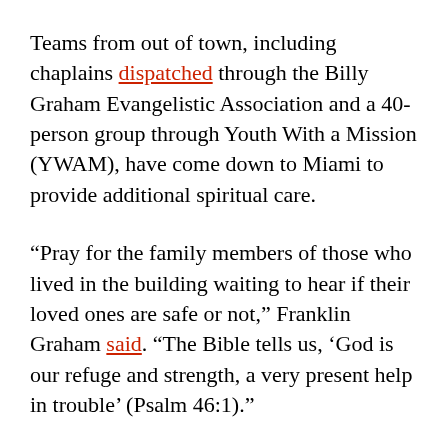Teams from out of town, including chaplains dispatched through the Billy Graham Evangelistic Association and a 40-person group through Youth With a Mission (YWAM), have come down to Miami to provide additional spiritual care.
“Pray for the family members of those who lived in the building waiting to hear if their loved ones are safe or not,” Franklin Graham said. “The Bible tells us, ‘God is our refuge and strength, a very present help in trouble’ (Psalm 46:1).”
Due to its proximity to the disaster, Casa canceled in-person services for Sunday, but will be worshiping online following weeknight prayer vigils for the disaster. “We will be singing to God and praying for